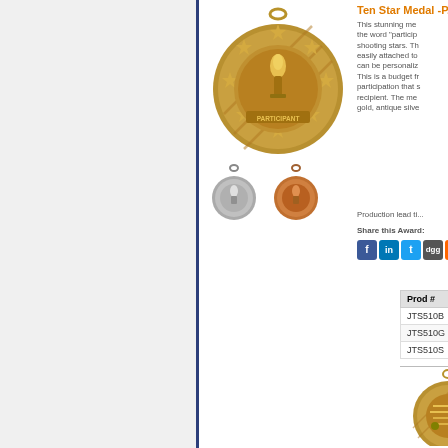Ten Star Medal -P...
This stunning me... the word "particip..." shooting stars. Th... easily attached to... can be personaliz... This is a budget fr... participation that s... recipient. The me... gold, antique silve...
Production lead ti...
Share this Award:
| Prod # | Description |
| --- | --- |
| JTS510B | 2-1/4” diameter |
| JTS510G | 2-1/4” diameter |
| JTS510S | 2-1/4” diameter |
Ten Star Medal -Pi...
This stunning me... derby racing cars... shooting stars. Th... easily attached to... can be personaliz...